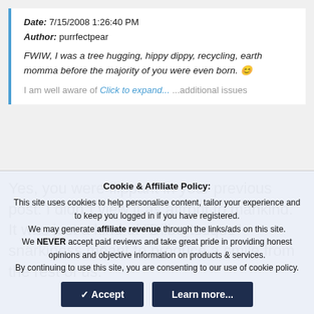Date: 7/15/2008 1:26:40 PM
Author: purrfectpear
FWIW, I was a tree hugging, hippy dippy, recycling, earth momma before the majority of you were even born. 😊
I am well aware of... Click to expand... ...additional issues
Yes, you were flippant in your previous post. I didn"t view it as affront to mankind. It was just a kind of "Dilbertesque" snarkiness meant to produce a smile from the rest of us.
Cookie & Affiliate Policy:
This site uses cookies to help personalise content, tailor your experience and to keep you logged in if you have registered.
We may generate affiliate revenue through the links/ads on this site.
We NEVER accept paid reviews and take great pride in providing honest opinions and objective information on products & services.
By continuing to use this site, you are consenting to our use of cookie policy.